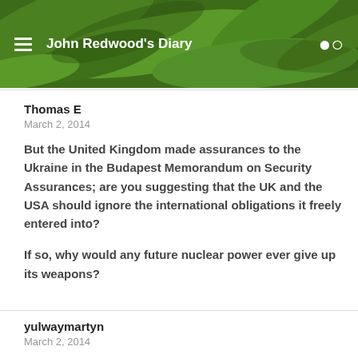John Redwood's Diary
Thomas E
March 2, 2014
But the United Kingdom made assurances to the Ukraine in the Budapest Memorandum on Security Assurances; are you suggesting that the UK and the USA should ignore the international obligations it freely entered into?

If so, why would any future nuclear power ever give up its weapons?
yulwaymartyn
March 2, 2014